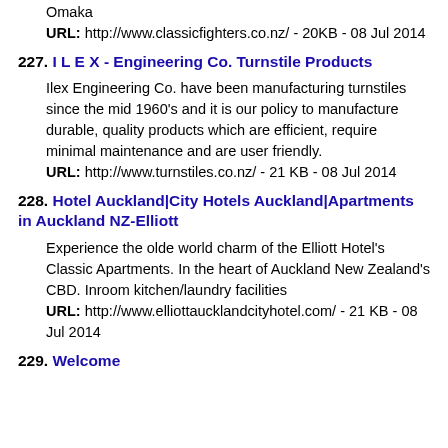Omaka
URL: http://www.classicfighters.co.nz/ - 20KB - 08 Jul 2014
227. I L E X - Engineering Co. Turnstile Products
Ilex Engineering Co. have been manufacturing turnstiles since the mid 1960's and it is our policy to manufacture durable, quality products which are efficient, require minimal maintenance and are user friendly.
URL: http://www.turnstiles.co.nz/ - 21 KB - 08 Jul 2014
228. Hotel Auckland|City Hotels Auckland|Apartments in Auckland NZ-Elliott
Experience the olde world charm of the Elliott Hotel's Classic Apartments. In the heart of Auckland New Zealand's CBD. Inroom kitchen/laundry facilities
URL: http://www.elliottaucklandcityhotel.com/ - 21 KB - 08 Jul 2014
229. Welcome